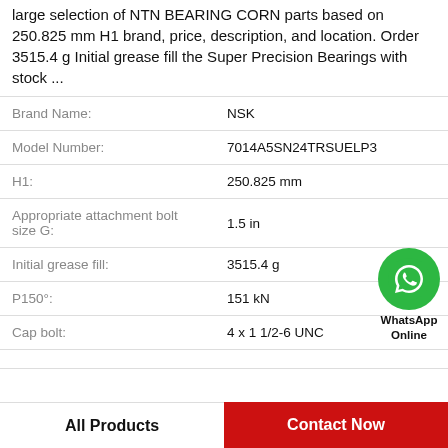large selection of NTN BEARING CORN parts based on 250.825 mm H1 brand, price, description, and location. Order 3515.4 g Initial grease fill the Super Precision Bearings with stock ...
| Property | Value |
| --- | --- |
| Brand Name: | NSK |
| Model Number: | 7014A5SN24TRSUELP3 |
| H1: | 250.825 mm |
| Appropriate attachment bolt size G: | 1.5 in |
| Initial grease fill: | 3515.4 g |
| P150°: | 151 kN |
| Cap bolt: | 4 x 1 1/2-6 UNC |
[Figure (logo): WhatsApp Online green phone icon with label]
All Products   Contact Now